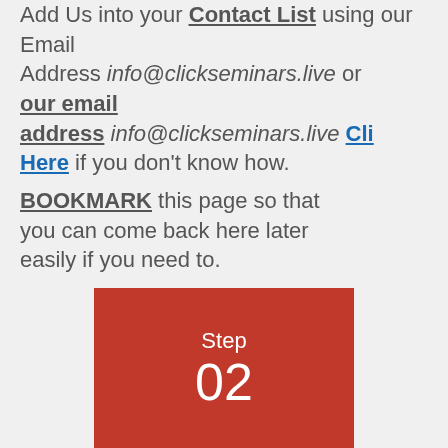Add Us into your Contact List using our Email Address info@clickseminars.live or our email address info@clickseminars.live Click Here if you don't know how.
BOOKMARK this page so that you can come back here later easily if you need to.
[Figure (infographic): Red rectangle with white text showing 'Step' and large '02']